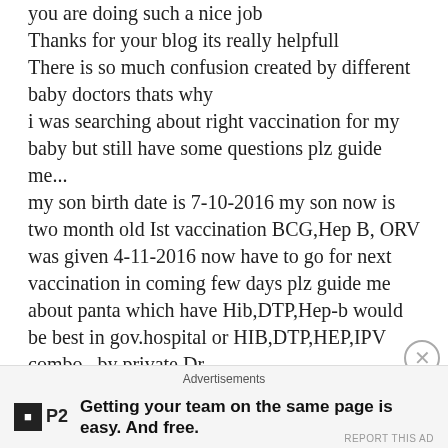you are doing such a nice job
Thanks for your blog its really helpfull
There is so much confusion created by different baby doctors thats why
i was searching about right vaccination for my baby but still have some questions plz guide me...
my son birth date is 7-10-2016 my son now is two month old Ist vaccination BCG,Hep B, ORV was given 4-11-2016 now have to go for next vaccination in coming few days plz guide me about panta which have Hib,DTP,Hep-b would be best in gov.hospital or HIB,DTP,HEP,IPV combo.. by private Dr.
my 2nd Q. IF i choose IPV then there is also need OPV or not?
3Q. about PCV & RV vaccine optinal as Dr.says so whould i go for or not ?
please guide me also for all vaccine time bounding too
waiting for reply thank you mam
Advertisements
Getting your team on the same page is easy. And free.